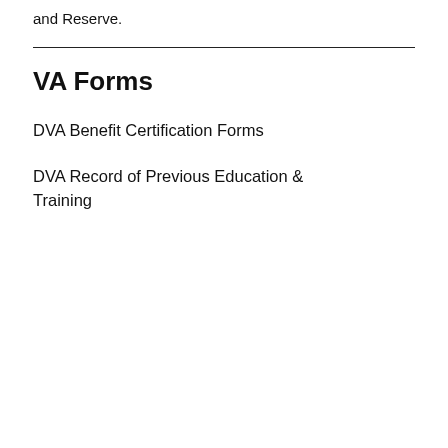and Reserve.
VA Forms
DVA Benefit Certification Forms
DVA Record of Previous Education & Training